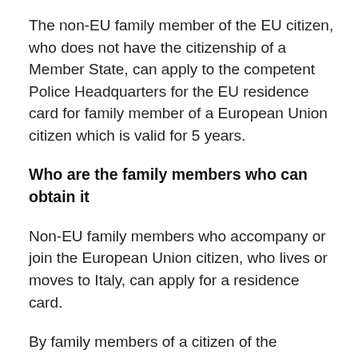The non-EU family member of the EU citizen, who does not have the citizenship of a Member State, can apply to the competent Police Headquarters for the EU residence card for family member of a European Union citizen which is valid for 5 years.
Who are the family members who can obtain it
Non-EU family members who accompany or join the European Union citizen, who lives or moves to Italy, can apply for a residence card.
By family members of a citizen of the European Union we mean: